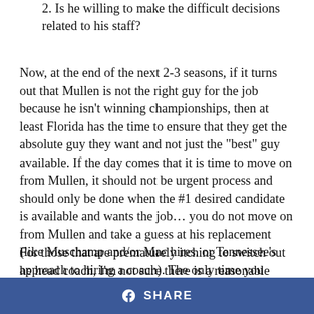2. Is he willing to make the difficult decisions related to his staff?
Now, at the end of the next 2-3 seasons, if it turns out that Mullen is not the right guy for the job because he isn't winning championships, then at least Florida has the time to ensure that they get the absolute guy they want and not just the "best" guy available. If the day comes that it is time to move on from Mullen, it should not be urgent process and should only be done when the #1 desired candidate is available and wants the job… you do not move on from Mullen and take a guess at his replacement (like Muschamp and/or Mac hires. or Tennessee's approach to hiring a coach). The only time you would do that is if the ship starts sinking.
For those that are prematurely itching to switch out he head coach, I'm not sure there is a reasonable candidate out there that you would be willing to go "all in" on that you could be
SHARE